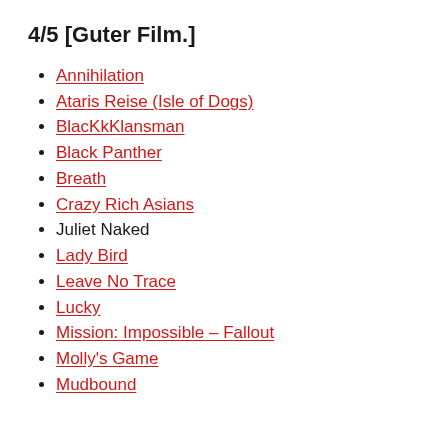4/5 [Guter Film.]
Annihilation
Ataris Reise (Isle of Dogs)
BlacKkKlansman
Black Panther
Breath
Crazy Rich Asians
Juliet Naked
Lady Bird
Leave No Trace
Lucky
Mission: Impossible – Fallout
Molly's Game
Mudbound